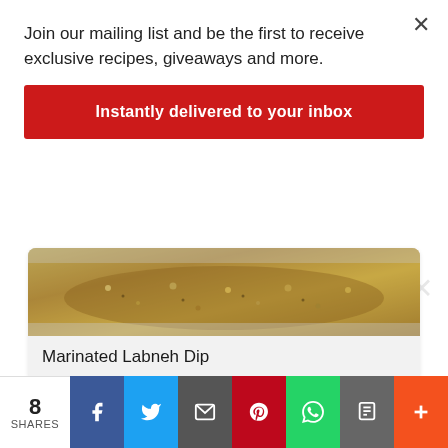Join our mailing list and be the first to receive exclusive recipes, giveaways and more.
Instantly delivered to your inbox
[Figure (photo): Close-up photo of Marinated Labneh Dip with seeds and herbs on top]
Marinated Labneh Dip
[Figure (other): Loading spinner animation (circular dots in grey)]
8 SHARES